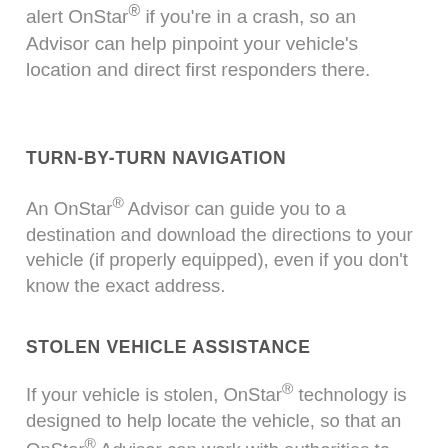alert OnStar® if you're in a crash, so an Advisor can help pinpoint your vehicle's location and direct first responders there.
TURN-BY-TURN NAVIGATION
An OnStar® Advisor can guide you to a destination and download the directions to your vehicle (if properly equipped), even if you don't know the exact address.
STOLEN VEHICLE ASSISTANCE
If your vehicle is stolen, OnStar® technology is designed to help locate the vehicle, so that an OnStar® Advisor can work with authorities to